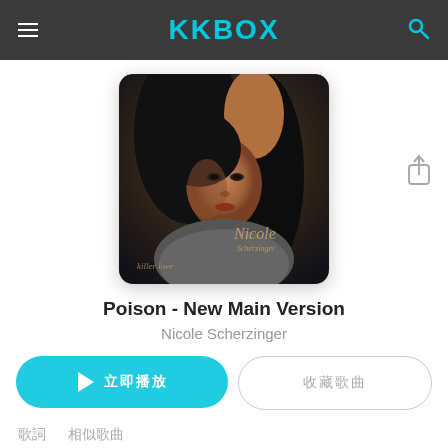KKBOX
[Figure (photo): Nicole Scherzinger album cover art for Poison - New Main Version. Shows a woman with long dark hair, posing elegantly. The name 'Nicole Scherzinger' appears on the cover in gold/brown text.]
Poison - New Main Version
Nicole Scherzinger
▷ 立即播放
收藏歌曲
歌詞　相似歌曲